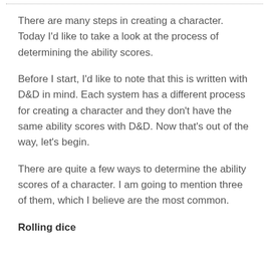There are many steps in creating a character. Today I'd like to take a look at the process of determining the ability scores.
Before I start, I'd like to note that this is written with D&D in mind. Each system has a different process for creating a character and they don't have the same ability scores with D&D. Now that's out of the way, let's begin.
There are quite a few ways to determine the ability scores of a character. I am going to mention three of them, which I believe are the most common.
Rolling dice